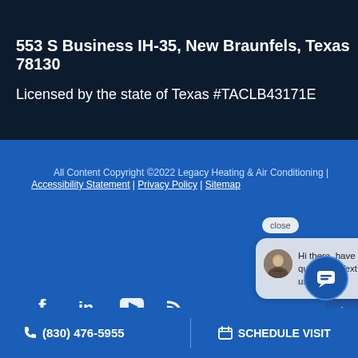553 S Business IH-35, New Braunfels, Texas 78130
Licensed by the state of Texas #TACLB43171E
All Content Copyright ©2022 Legacy Heating & Air Conditioning |
Accessibility Statement | Privacy Policy | Sitemap
[Figure (screenshot): Chat popup widget showing a woman avatar with text 'Hi there, have a question? Text us here.' and a close button]
[Figure (illustration): Social media icons: Facebook, LinkedIn, YouTube, RSS]
[Figure (illustration): Blue chat circle button with message icon and scroll-to-top arrow]
(830) 476-5955
SCHEDULE VISIT